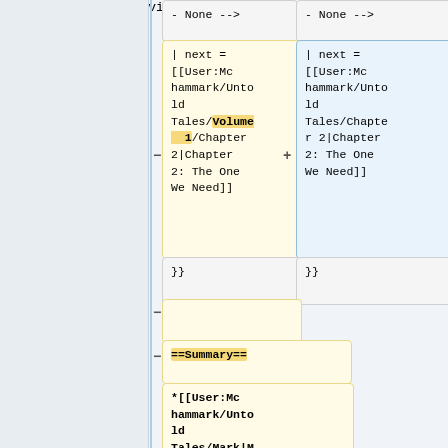- None -->
- None -->
| next = [[User:Mchammark/Untold Tales/Volume 1/Chapter 2|Chapter 2: The One We Need]]
| next = [[User:Mchammark/Untold Tales/Chapter 2|Chapter 2: The One We Need]]
}}
}}
==Summary==
*[[User:Mchammark/Untold Tales/Mark|Mark]] meets a